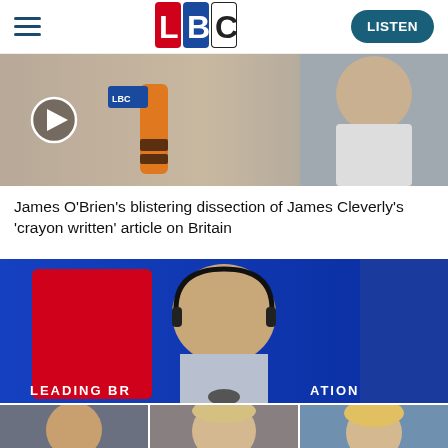[Figure (logo): LBC radio logo — coloured letter tiles L (red), B (blue), C (black/white)]
[Figure (photo): LBC microphone with orange crayon and a man in a suit on the right, with a play button overlay]
James O'Brien's blistering dissection of James Cleverly's 'crayon written' article on Britain
[Figure (photo): James O'Brien in LBC studio wearing headphones, with LBC 'Leading Britain' branding in background]
[Figure (photo): Bottom row of three thumbnail photos: Rishi Sunak speaking, Boris Johnson, and a blonde woman]